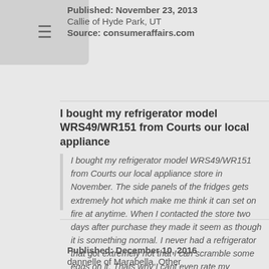Published: November 23, 2013
Callie of Hyde Park, UT
Source: consumeraffairs.com
I bought my refrigerator model WRS49/WR151 from Courts our local appliance
I bought my refrigerator model WRS49/WR151 from Courts our local appliance store in November. The side panels of the fridges gets extremely hot which make me think it can set on fire at anytime. When I contacted the store two days after purchase they made it seem as though it is something normal. I never had a refrigerator that got extremely hot that I can scramble some eggs on it. Thats why I cant even rate my experience.
Published: December 10, 2016
dannelle of Marabella, Other